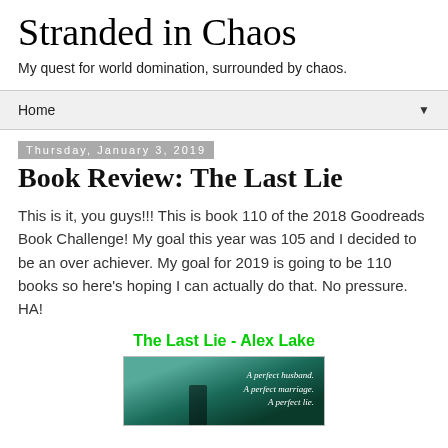Stranded in Chaos
My quest for world domination, surrounded by chaos.
Home ▼
Thursday, January 3, 2019
Book Review: The Last Lie
This is it, you guys!!! This is book 110 of the 2018 Goodreads Book Challenge! My goal this year was 105 and I decided to be an over achiever. My goal for 2019 is going to be 110 books so here's hoping I can actually do that. No pressure. HA!
The Last Lie - Alex Lake
[Figure (photo): Book cover of The Last Lie by Alex Lake, showing a dark atmospheric scene with a silhouetted figure and text 'A perfect husband. A perfect marriage. A perfect lie.']